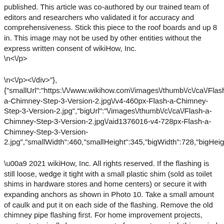published. This article was co-authored by our trained team of editors and researchers who validated it for accuracy and comprehensiveness. Stick this piece to the roof boards and up 8 in. This image may not be used by other entities without the express written consent of wikiHow, Inc.
\n<\/p>
\n<\/p><\/div>"},{"smallUrl":"https:\/\/www.wikihow.com\/images\/thumb\/c\/ca\/Flash-a-Chimney-Step-3-Version-2.jpg\/v4-460px-Flash-a-Chimney-Step-3-Version-2.jpg","bigUrl":"\/images\/thumb\/c\/ca\/Flash-a-Chimney-Step-3-Version-2.jpg\/aid1376016-v4-728px-Flash-a-Chimney-Step-3-Version-2.jpg","smallWidth":460,"smallHeight":345,"bigWidth":728,"bigHeight":54
\u00a9 2021 wikiHow, Inc. All rights reserved. If the flashing is still loose, wedge it tight with a small plastic shim (sold as toilet shims in hardware stores and home centers) or secure it with expanding anchors as shown in Photo 10. Take a small amount of caulk and put it on each side of the flashing. Remove the old chimney pipe flashing first. For home improvement projects, contracts typically have some sort of warranty period, this period is typically at most only good for one year. This is the key to a successful flashing job. Chimney flashing is essentially a seal that covers the surrounding area of your chimney